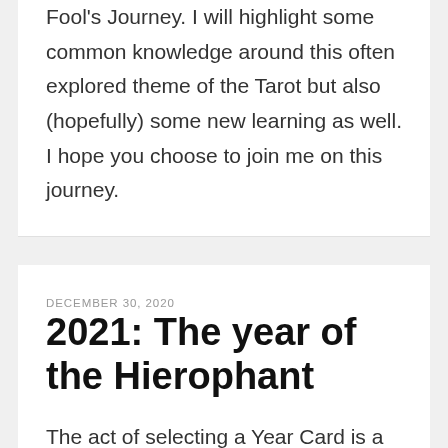Fool's Journey. I will highlight some common knowledge around this often explored theme of the Tarot but also (hopefully) some new learning as well. I hope you choose to join me on this journey.
DECEMBER 30, 2020
2021: The year of the Hierophant
The act of selecting a Year Card is a relatively simple one. Each year is numerologically represented by one card